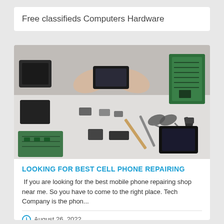Free classifieds Computers Hardware
[Figure (photo): A person repairing cell phones surrounded by disassembled phone parts, circuit boards, tools including scissors and pliers, and electronic components spread on a white surface.]
LOOKING FOR BEST CELL PHONE REPAIRING
If you are looking for the best mobile phone repairing shop near me. So you have to come to the right place. Tech Company is the phon...
August 26, 2022